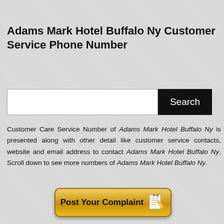Adams Mark Hotel Buffalo Ny Customer Service Phone Number
[Figure (other): Search bar with text input and Search button]
Customer Care Service Number of Adams Mark Hotel Buffalo Ny is presented along with other detail like customer service contacts, website and email address to contact Adams Mark Hotel Buffalo Ny. Scroll down to see more numbers of Adams Mark Hotel Buffalo Ny.
[Figure (other): Post Your Complaint button with notepad and pencil icon]